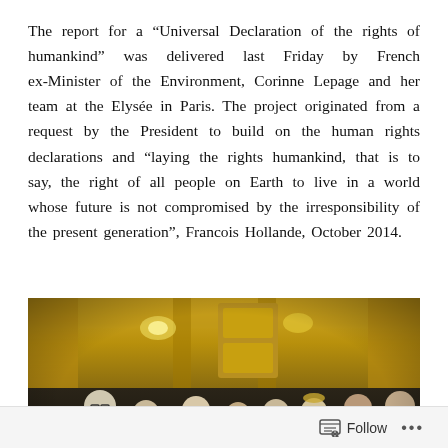The report for a “Universal Declaration of the rights of humankind” was delivered last Friday by French ex-Minister of the Environment, Corinne Lepage and her team at the Elysée in Paris. The project originated from a request by the President to build on the human rights declarations and “laying the rights humankind, that is to say, the right of all people on Earth to live in a world whose future is not compromised by the irresponsibility of the present generation”, Francois Hollande, October 2014.
[Figure (photo): A group of people including Francois Hollande reading a document at the Elysée palace in Paris, with ornate gold decor in the background.]
Follow ...